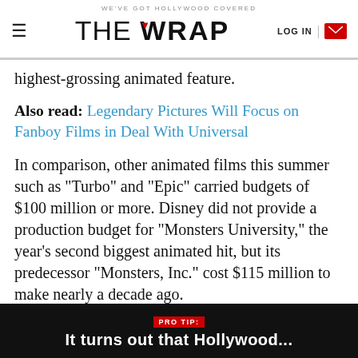WE'VE GOT HOLLYWOOD COVERED | THE WRAP | LOG IN
highest-grossing animated feature.
Also read: Legendary Pictures Will Focus on Fanboy Films in Deal With Universal
In comparison, other animated films this summer such as "Turbo" and "Epic" carried budgets of $100 million or more. Disney did not provide a production budget for "Monsters University," the year's second biggest animated hit, but its predecessor "Monsters, Inc." cost $115 million to make nearly a decade ago.
"Turbo" has so far grossed less than $100 million
PRO TIP: It turns out that Hollywood...